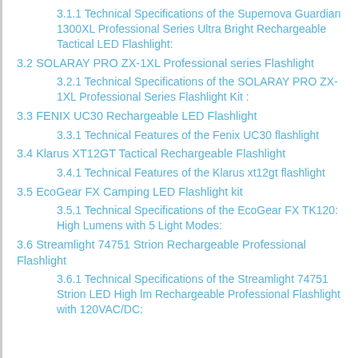3.1.1 Technical Specifications of the Supernova Guardian 1300XL Professional Series Ultra Bright Rechargeable Tactical LED Flashlight:
3.2 SOLARAY PRO ZX-1XL Professional series Flashlight
3.2.1 Technical Specifications of the SOLARAY PRO ZX-1XL Professional Series Flashlight Kit :
3.3 FENIX UC30 Rechargeable LED Flashlight
3.3.1 Technical Features of the Fenix UC30 flashlight
3.4 Klarus XT12GT Tactical Rechargeable Flashlight
3.4.1 Technical Features of the Klarus xt12gt flashlight
3.5 EcoGear FX Camping LED Flashlight kit
3.5.1 Technical Specifications of the EcoGear FX TK120: High Lumens with 5 Light Modes:
3.6 Streamlight 74751 Strion Rechargeable Professional Flashlight
3.6.1 Technical Specifications of the Streamlight 74751 Strion LED High lm Rechargeable Professional Flashlight with 120VAC/DC: